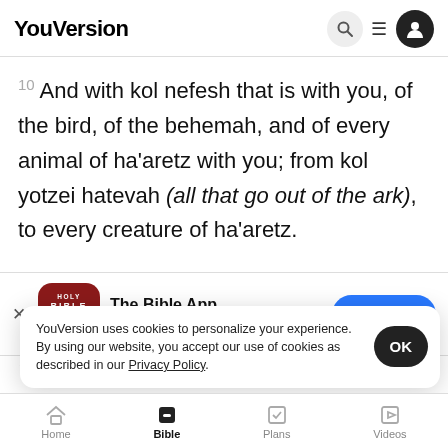YouVersion
10 And with kol nefesh that is with you, of the bird, of the behemah, and of every animal of ha'aretz with you; from kol yotzei hatevah (all that go out of the ark), to every creature of ha'aretz.
[Figure (screenshot): App store banner for The Bible App with red Holy Bible icon, 5 stars, 7.9M ratings, and a Download button]
Violentl
mabbul
l'shacheit (to destroy) ha'aretz
YouVersion uses cookies to personalize your experience. By using our website, you accept our use of cookies as described in our Privacy Policy.
Home  Bible  Plans  Videos